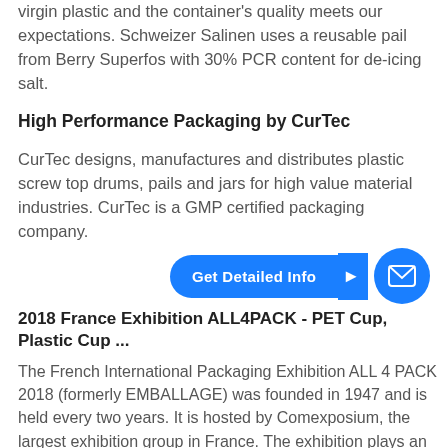virgin plastic and the container's quality meets our expectations. Schweizer Salinen uses a reusable pail from Berry Superfos with 30% PCR content for de-icing salt.
High Performance Packaging by CurTec
CurTec designs, manufactures and distributes plastic screw top drums, pails and jars for high value material industries. CurTec is a GMP certified packaging company.
[Figure (infographic): Blue UI overlay with 'Get Detailed Info' pill button with arrow and mail icon circle button]
2018 France Exhibition ALL4PACK - PET Cup, Plastic Cup ...
The French International Packaging Exhibition ALL 4 PACK 2018 (formerly EMBALLAGE) was founded in 1947 and is held every two years. It is hosted by Comexposium, the largest exhibition group in France. The exhibition plays an important role in Europe, the Middle East and Africa.